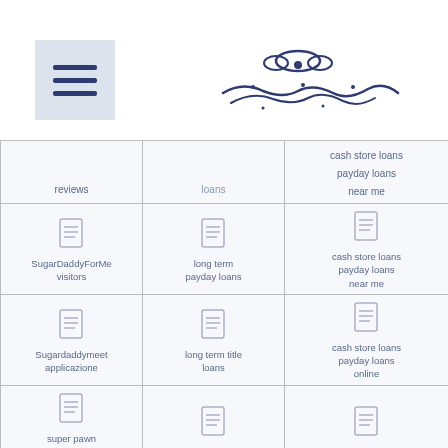Menu icon and logo header
| Col1 | Col2 | Col3 |
| --- | --- | --- |
| reviews | loans | cash store loans payday loans near me |
| SugarDaddyForMe visitors | long term payday loans | cash store loans payday loans near me |
| Sugardaddymeet applicazione | long term title loans | cash store loans payday loans online |
| super pawn america best online payday loans | los-angeles-dating review | cash title loans near me |
|  | Louisiana | cash1 loans online payday loans |